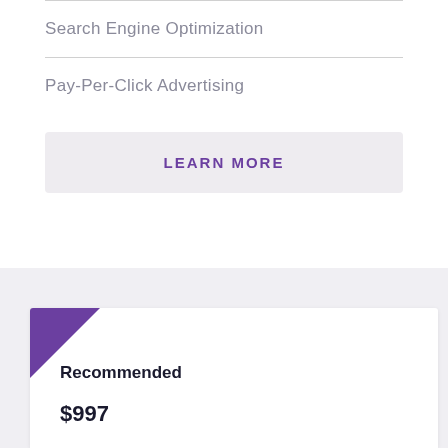Search Engine Optimization
Pay-Per-Click Advertising
LEARN MORE
Recommended
$997